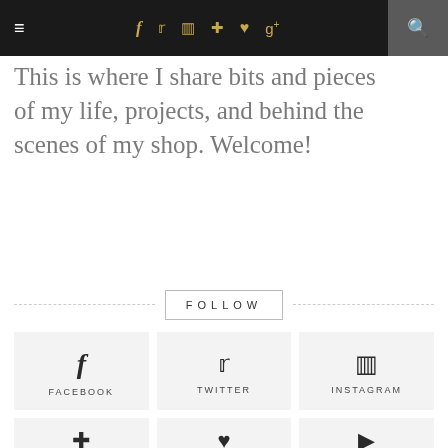Navigation bar with hamburger menu, social icons (f, twitter, instagram, pinterest, heart, g+), and search
This is where I share bits and pieces of my life, projects, and behind the scenes of my shop. Welcome!
FOLLOW
[Figure (infographic): Social media follow buttons grid: Facebook (f icon), Twitter (bird icon), Instagram (camera icon) in first row; Pinterest, heart/bloglovin, YouTube play button in second row (partial)]